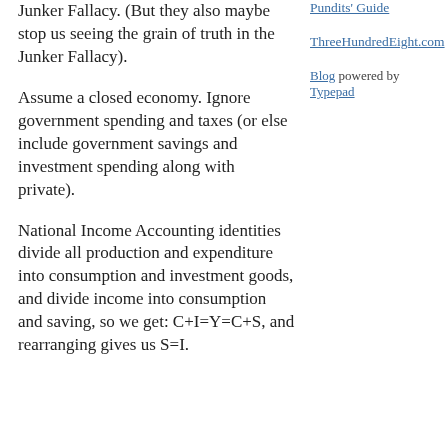Junker Fallacy. (But they also maybe stop us seeing the grain of truth in the Junker Fallacy).
Assume a closed economy. Ignore government spending and taxes (or else include government savings and investment spending along with private).
National Income Accounting identities divide all production and expenditure into consumption and investment goods, and divide income into consumption and saving, so we get: C+I=Y=C+S, and rearranging gives us S=I.
Pundits' Guide
ThreeHundredEight.com
Blog powered by Typepad